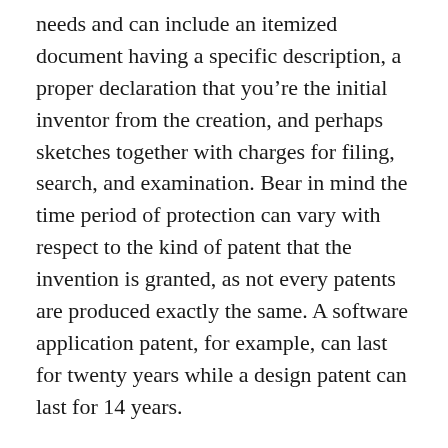needs and can include an itemized document having a specific description, a proper declaration that you’re the initial inventor from the creation, and perhaps sketches together with charges for filing, search, and examination. Bear in mind the time period of protection can vary with respect to the kind of patent that the invention is granted, as not every patents are produced exactly the same. A software application patent, for example, can last for twenty years while a design patent can last for 14 years.
The security of the unique jobs are key, so knowing which you’ll need it’s time for you to begin the documents tactic to make certain you are able to safeguard it for the business.
Have questions regarding copyrights or patents?